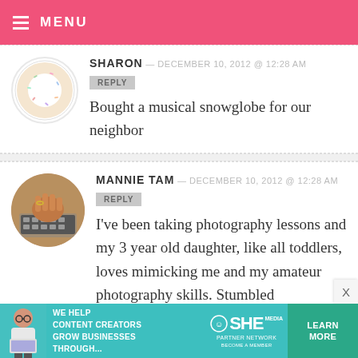MENU
SHARON — DECEMBER 10, 2012 @ 12:28 AM
REPLY
Bought a musical snowglobe for our neighbor
MANNIE TAM — DECEMBER 10, 2012 @ 12:28 AM
REPLY
I've been taking photography lessons and my 3 year old daughter, like all toddlers, loves mimicking me and my amateur photography skills. Stumbled
[Figure (infographic): Advertisement banner: SHE Partner Network — We help content creators grow businesses through... Learn More button]